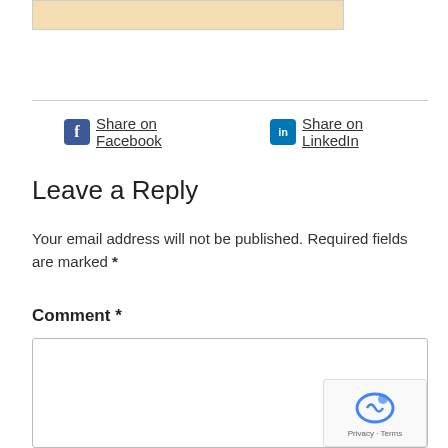[Figure (illustration): Partial view of an illustration with beige/tan background, clipped at top of page]
Share on Facebook   Share on LinkedIn
Leave a Reply
Your email address will not be published. Required fields are marked *
Comment *